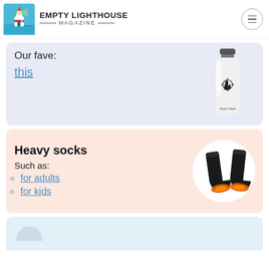EMPTY LIGHTHOUSE MAGAZINE
Our fave:
this
[Figure (photo): White Hydro Flask insulated water bottle]
Heavy socks
Such as:
for adults
for kids
[Figure (photo): Black heated socks with orange glowing soles, shown as a pair]
[Figure (photo): Partial bottom card with blue background and figure]